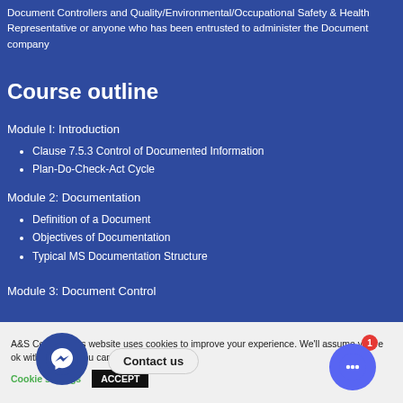Document Controllers and Quality/Environmental/Occupational Safety & Health Representative or anyone who has been entrusted to administer the Document company
Course outline
Module I: Introduction
Clause 7.5.3 Control of Documented Information
Plan-Do-Check-Act Cycle
Module 2: Documentation
Definition of a Document
Objectives of Documentation
Typical MS Documentation Structure
Module 3: Document Control
A&S Conferences website uses cookies to improve your experience. We'll assume you're ok with this, but you can opt-out if you wish.
Cookie settings
ACCEPT
Contact us